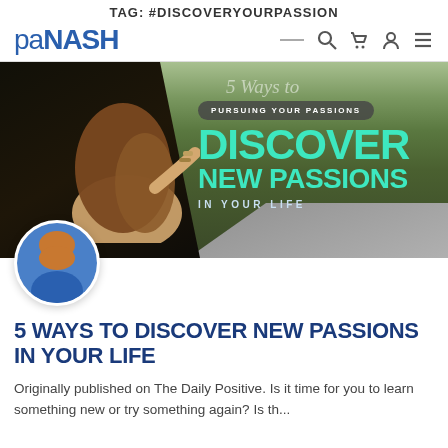TAG: #DISCOVERYOURPASSION
[Figure (logo): paNASH logo with navigation icons (search, cart, user, menu)]
[Figure (photo): Hero image of a woman leaning out of a car window on a mountain road, with overlay text: PURSUING YOUR PASSIONS / Discover / New Passions / IN YOUR LIFE]
[Figure (photo): Circular avatar portrait of a woman in a blue outfit]
5 WAYS TO DISCOVER NEW PASSIONS IN YOUR LIFE
Originally published on The Daily Positive. Is it time for you to learn something new or try something again? Is the...